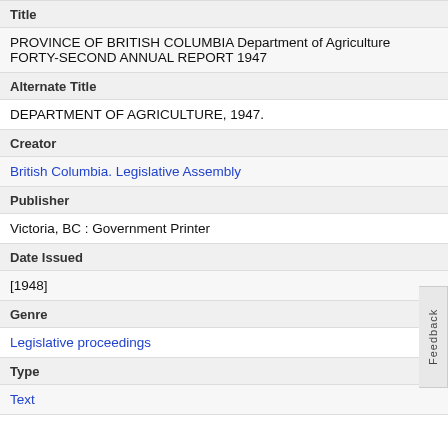Title
PROVINCE OF BRITISH COLUMBIA Department of Agriculture FORTY-SECOND ANNUAL REPORT 1947
Alternate Title
DEPARTMENT OF AGRICULTURE, 1947.
Creator
British Columbia. Legislative Assembly
Publisher
Victoria, BC : Government Printer
Date Issued
[1948]
Genre
Legislative proceedings
Type
Text